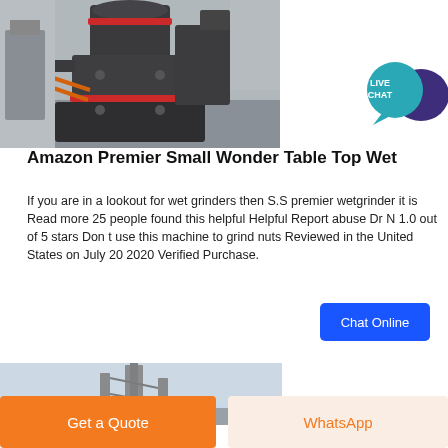[Figure (photo): Industrial wet grinder machine, large grey mechanical grinder in a factory setting]
[Figure (logo): Live Chat badge — teal speech bubble with 'LIVE CHAT' text and dark purple chat bubble icon]
Amazon Premier Small Wonder Table Top Wet
If you are in a lookout for wet grinders then S.S premier wetgrinder it is Read more 25 people found this helpful Helpful Report abuse Dr N 1.0 out of 5 stars Don t use this machine to grind nuts Reviewed in the United States on July 20 2020 Verified Purchase.
[Figure (other): Chat Online button — blue rectangle with white text]
[Figure (photo): Industrial machinery/tower structure against a light blue sky]
[Figure (other): Get a Quote button — orange rectangle with white text]
[Figure (other): WhatsApp button — light peach/cream rectangle with orange text]